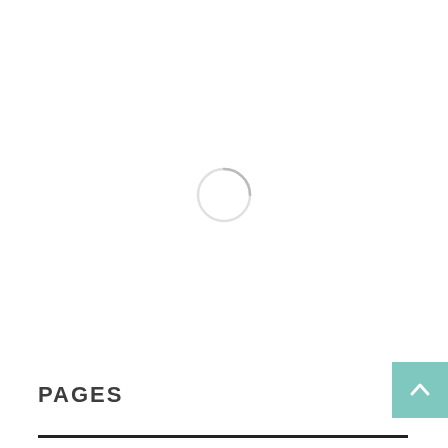[Figure (other): Loading spinner — a circular spinner/loader icon centered in the white content area, consisting of a thin circular border with a slightly darker arc at the top indicating rotation.]
PAGES
[Figure (other): Teal/mint colored back-to-top button with an upward-pointing chevron arrow (^), positioned at the bottom right corner.]